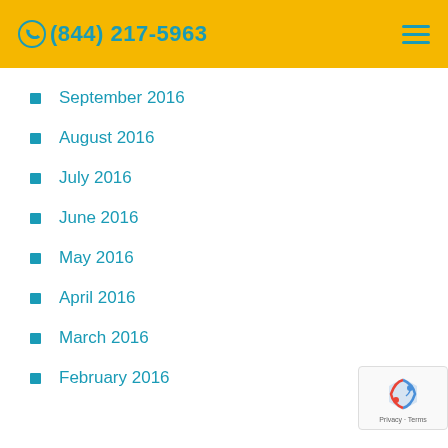(844) 217-5963
September 2016
August 2016
July 2016
June 2016
May 2016
April 2016
March 2016
February 2016